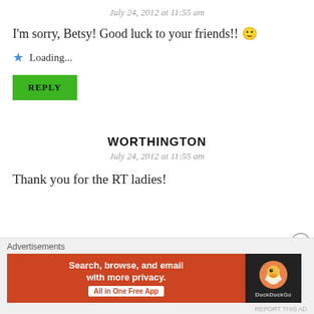July 24, 2012 at 11:55 am
I'm sorry, Betsy! Good luck to your friends!! 🙂
Loading...
REPLY
WORTHINGTON
July 24, 2012 at 11:55 am
Thank you for the RT ladies!
Advertisements
[Figure (screenshot): DuckDuckGo advertisement banner: orange left panel reading 'Search, browse, and email with more privacy. All in One Free App', dark right panel with DuckDuckGo duck logo and brand name.]